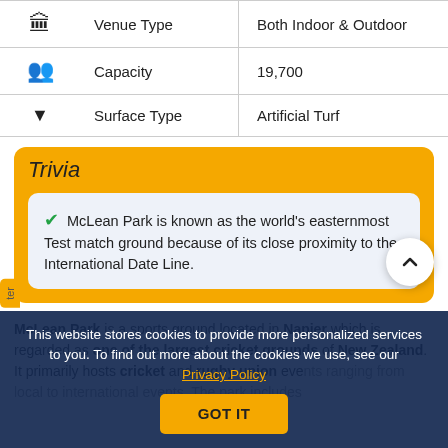| Icon | Property | Value |
| --- | --- | --- |
| 🏛 | Venue Type | Both Indoor & Outdoor |
| 👥 | Capacity | 19,700 |
| ▼ | Surface Type | Artificial Turf |
Trivia
✓ McLean Park is known as the world's easternmost Test match ground because of its close proximity to the International Date Line.
McLean Park is a sports ground located in Napier which is regarded as one of the largest cricket grounds of New Zealand. It primarily hosts cricket and rugby union events ranging from local to international events. The park includes an International Events Centre and the operations of the park are led by Napier City Council. The stadium's ends are known as the Cemetery Stand End and Embankment End.
This website stores cookies to provide more personalized services to you. To find out more about the cookies we use, see our Privacy Policy